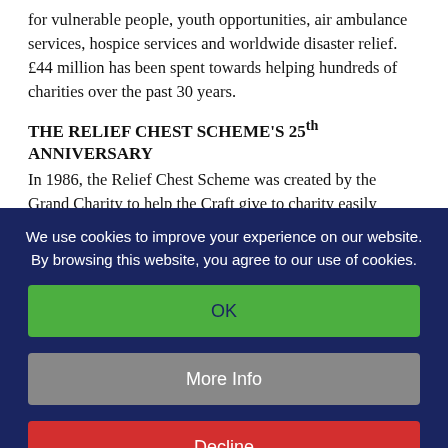for vulnerable people, youth opportunities, air ambulance services, hospice services and worldwide disaster relief. £44 million has been spent towards helping hundreds of charities over the past 30 years.
THE RELIEF CHEST SCHEME'S 25th ANNIVERSARY
In 1986, the Relief Chest Scheme was created by the Grand Charity to help the Craft give to charity easily
We use cookies to improve your experience on our website. By browsing this website, you agree to our use of cookies.
OK
More Info
Decline